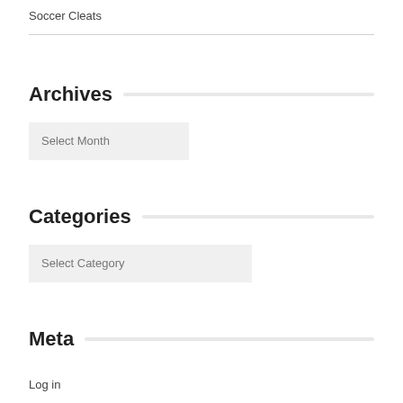Soccer Cleats
Archives
Select Month
Categories
Select Category
Meta
Log in